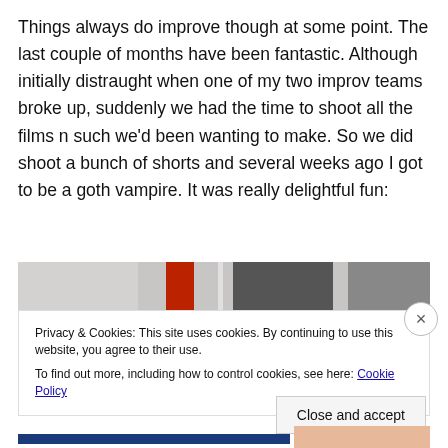Things always do improve though at some point. The last couple of months have been fantastic. Although initially distraught when one of my two improv teams broke up, suddenly we had the time to shoot all the films n such we'd been wanting to make. So we did shoot a bunch of shorts and several weeks ago I got to be a goth vampire. It was really delightful fun:
[Figure (photo): Partial photo strip of a scene, showing a red garment and a dark shape against a light background]
Privacy & Cookies: This site uses cookies. By continuing to use this website, you agree to their use.
To find out more, including how to control cookies, see here: Cookie Policy
Close and accept